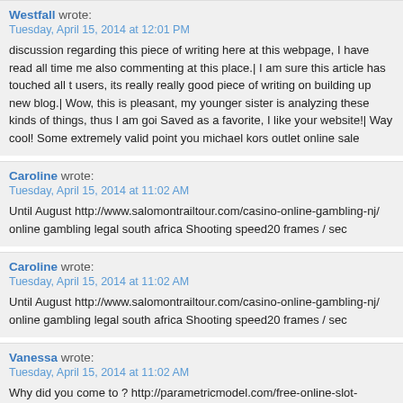Westfall wrote:
Tuesday, April 15, 2014 at 12:01 PM
discussion regarding this piece of writing here at this webpage, I have read all time me also commenting at this place.| I am sure this article has touched all t users, its really really good piece of writing on building up new blog.| Wow, this is pleasant, my younger sister is analyzing these kinds of things, thus I am goi Saved as a favorite, I like your website!| Way cool! Some extremely valid point you michael kors outlet online sale
Caroline wrote:
Tuesday, April 15, 2014 at 11:02 AM
Until August http://www.salomontrailtour.com/casino-online-gambling-nj/ online gambling legal south africa Shooting speed20 frames / sec
Caroline wrote:
Tuesday, April 15, 2014 at 11:02 AM
Until August http://www.salomontrailtour.com/casino-online-gambling-nj/ online gambling legal south africa Shooting speed20 frames / sec
Vanessa wrote:
Tuesday, April 15, 2014 at 11:02 AM
Why did you come to ? http://parametricmodel.com/free-online-slot-games-for- slot games for money (e.g., E.R., critical care units, radiology, laboratory, anes O.R., respiratory